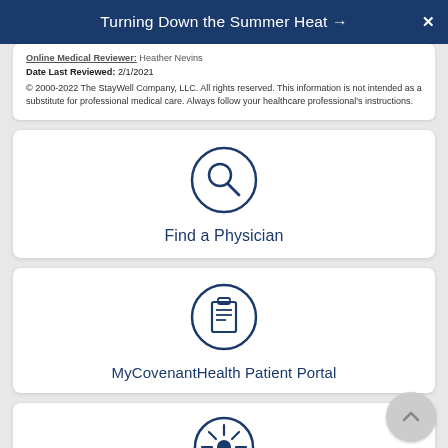Turning Down the Summer Heat →
Online Medical Reviewer: Heather Nevins
Date Last Reviewed: 2/1/2021
© 2000-2022 The StayWell Company, LLC. All rights reserved. This information is not intended as a substitute for professional medical care. Always follow your healthcare professional's instructions.
[Figure (illustration): Circular icon with a magnifying glass symbol in dark blue outline]
Find a Physician
[Figure (illustration): Circular icon with a clipboard/list symbol in dark blue outline]
MyCovenantHealth Patient Portal
[Figure (illustration): Circular icon with a virus/COVID symbol in dark blue outline, partially visible]